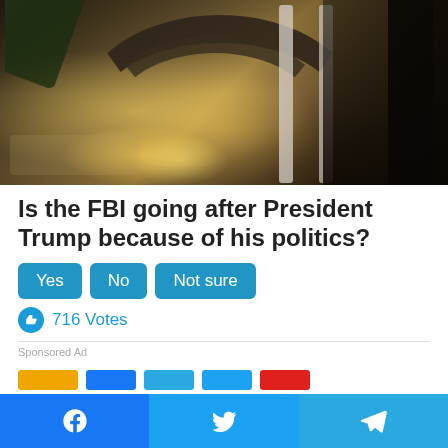[Figure (photo): Interior photo of a grand venue with curved spiral staircase, palm trees, ornate columns, and a man in a dark suit standing on the right side.]
Is the FBI going after President Trump because of his politics?
Yes | No | Not sure
716 Votes
Sponsored Ad
Facebook | Twitter | Telegram share buttons